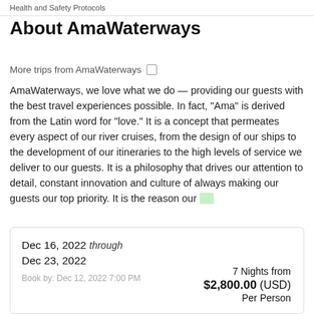Health and Safety Protocols
About AmaWaterways
More trips from AmaWaterways □
AmaWaterways, we love what we do — providing our guests with the best travel experiences possible. In fact, “Ama” is derived from the Latin word for “love.” It is a concept that permeates every aspect of our river cruises, from the design of our ships to the development of our itineraries to the high levels of service we deliver to our guests. It is a philosophy that drives our attention to detail, constant innovation and culture of always making our guests our top priority. It is the reason our …
| Dec 16, 2022 through
Dec 23, 2022 |  |
| Book by: Dec 12, 2022 7:00 PM |  |
|  | 7 Nights from
$2,800.00 (USD)
Per Person |